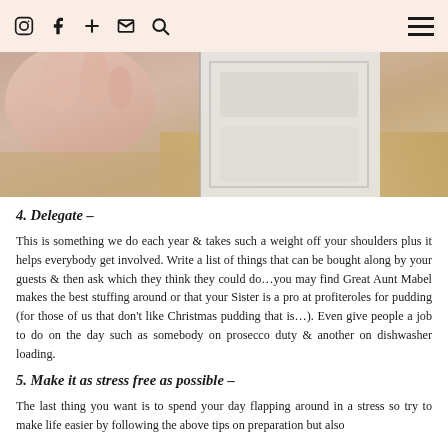Social icons and navigation menu
[Figure (photo): Close-up photo of a hand near white cabinet/drawer with wooden floor visible]
4. Delegate –
This is something we do each year & takes such a weight off your shoulders plus it helps everybody get involved. Write a list of things that can be bought along by your guests & then ask which they think they could do…you may find Great Aunt Mabel makes the best stuffing around or that your Sister is a pro at profiteroles for pudding (for those of us that don't like Christmas pudding that is…). Even give people a job to do on the day such as somebody on prosecco duty & another on dishwasher loading.
5. Make it as stress free as possible –
The last thing you want is to spend your day flapping around in a stress so try to make life easier by following the above tips on preparation but also